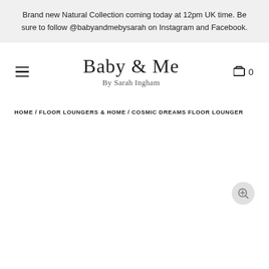Brand new Natural Collection coming today at 12pm UK time. Be sure to follow @babyandmebysarah on Instagram and Facebook.
[Figure (logo): Baby & Me By Sarah Ingham logo in cursive/script font]
HOME / FLOOR LOUNGERS & HOME / COSMIC DREAMS FLOOR LOUNGER
[Figure (other): Zoom/magnify button icon (circle with plus magnifying glass)]